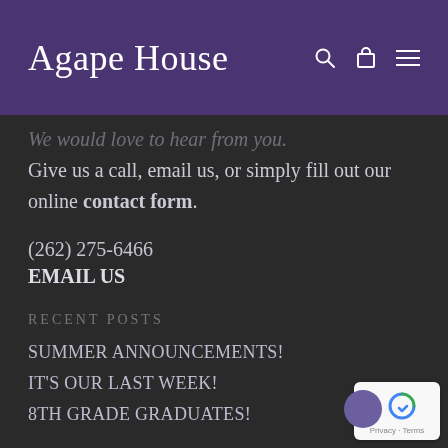Agape House
We would love to hear from you. Give us a call, email us, or simply fill out our online contact form.
(262) 275-6466
EMAIL US
RECENT POSTS
SUMMER ANNOUNCEMENTS!
IT'S OUR LAST WEEK!
8TH GRADE GRADUATES!